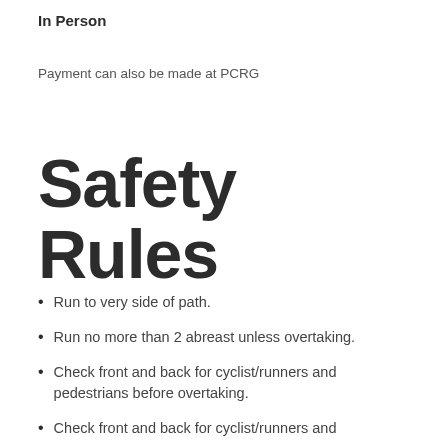In Person
Payment can also be made at PCRG
Safety Rules
Run to very side of path.
Run no more than 2 abreast unless overtaking.
Check front and back for cyclist/runners and pedestrians before overtaking.
Check front and back for cyclist/runners and